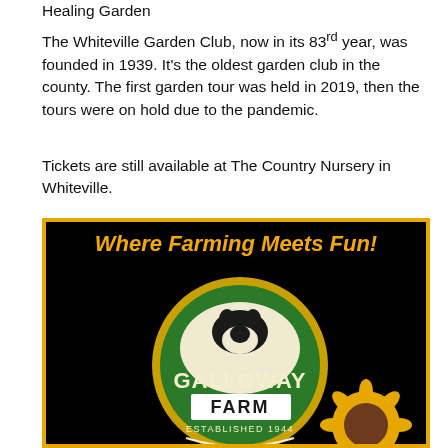Healing Garden
The Whiteville Garden Club, now in its 83rd year, was founded in 1939. It's the oldest garden club in the county. The first garden tour was held in 2019, then the tours were on hold due to the pandemic.
Tickets are still available at The Country Nursery in Whiteville.
[Figure (logo): Galloway Farm advertisement. Black background with gold border. Text reads 'Where Farming Meets Fun!' in gold italic. Center shows circular green logo with cow silhouette and text 'GALLOWAY FARM ESTABLISHED 1944'. Lower left shows 'maze craze' logo. Lower right shows sunflower illustration.]